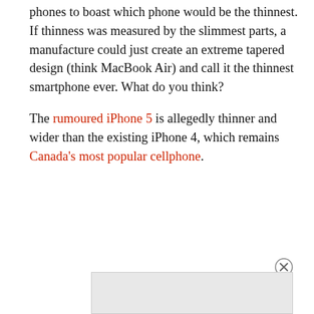phones to boast which phone would be the thinnest. If thinness was measured by the slimmest parts, a manufacture could just create an extreme tapered design (think MacBook Air) and call it the thinnest smartphone ever. What do you think?
The rumoured iPhone 5 is allegedly thinner and wider than the existing iPhone 4, which remains Canada's most popular cellphone.
[Figure (other): Advertisement close button (circled X) and grey ad box at bottom of page]